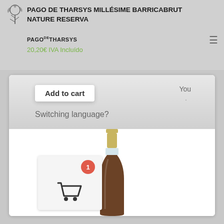PAGO DE THARSYS MILLÉSIME BARRICABRUT NATURE RESERVA
PAGO DE THARSYS
20,20€ IVA Incluído
Add to cart
Switching language?
You
[Figure (photo): A sparkling wine bottle from Pago de Tharsys with gold foil top and dark glass body]
[Figure (infographic): Shopping cart icon with red badge showing number 1]